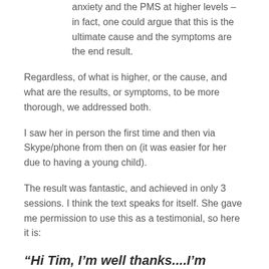anxiety and the PMS at higher levels – in fact, one could argue that this is the ultimate cause and the symptoms are the end result.
Regardless, of what is higher, or the cause, and what are the results, or symptoms, to be more thorough, we addressed both.
I saw her in person the first time and then via Skype/phone from then on (it was easier for her due to having a young child).
The result was fantastic, and achieved in only 3 sessions. I think the text speaks for itself. She gave me permission to use this as a testimonial, so here it is:
“Hi Tim, I’m well thanks....I’m actually doing really good...I don’t have a lot to go over with